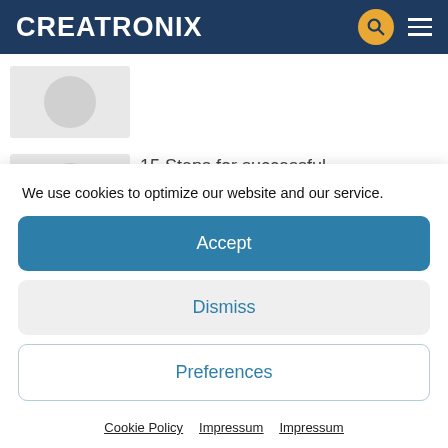CREATRONIX
[Figure (screenshot): Partially visible blog/article card with grey thumbnail and partial title text]
15 Steps for successful Bootstrapping – Part 2
We use cookies to optimize our website and our service.
Accept
Dismiss
Preferences
Cookie Policy   Impressum   Impressum